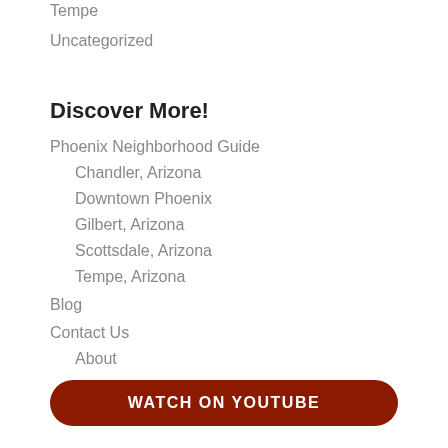Tempe
Uncategorized
Discover More!
Phoenix Neighborhood Guide
Chandler, Arizona
Downtown Phoenix
Gilbert, Arizona
Scottsdale, Arizona
Tempe, Arizona
Blog
Contact Us
About
WATCH ON YOUTUBE